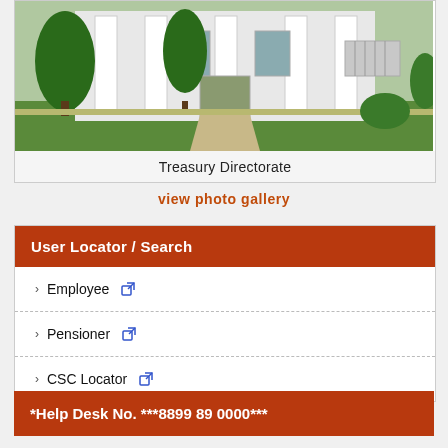[Figure (photo): Photograph of Treasury Directorate building with white columns, green trees and lawn in front]
Treasury Directorate
view photo gallery
User Locator / Search
Employee
Pensioner
CSC Locator
*Help Desk No. ***8899 89 0000***